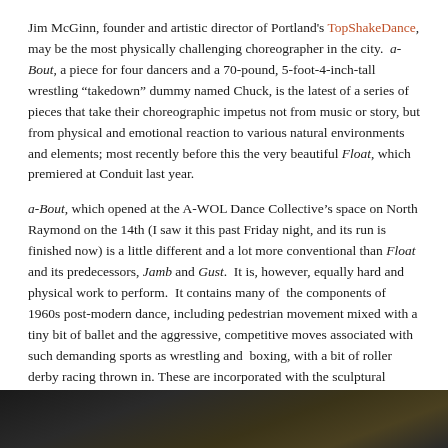Jim McGinn, founder and artistic director of Portland's TopShakeDance, may be the most physically challenging choreographer in the city. a-Bout, a piece for four dancers and a 70-pound, 5-foot-4-inch-tall wrestling “takedown” dummy named Chuck, is the latest of a series of pieces that take their choreographic impetus not from music or story, but from physical and emotional reaction to various natural environments and elements; most recently before this the very beautiful Float, which premiered at Conduit last year.
a-Bout, which opened at the A-WOL Dance Collective’s space on North Raymond on the 14th (I saw it this past Friday night, and its run is finished now) is a little different and a lot more conventional than Float and its predecessors, Jamb and Gust. It is, however, equally hard and physical work to perform. It contains many of the components of 1960s post-modern dance, including pedestrian movement mixed with a tiny bit of ballet and the aggressive, competitive moves associated with such demanding sports as wrestling and boxing, with a bit of roller derby racing thrown in. These are incorporated with the sculptural modern dance vocabulary McGinn has developed over the years.
[Figure (photo): Dark photograph strip showing blurred figures or hair, very dark with warm tones]